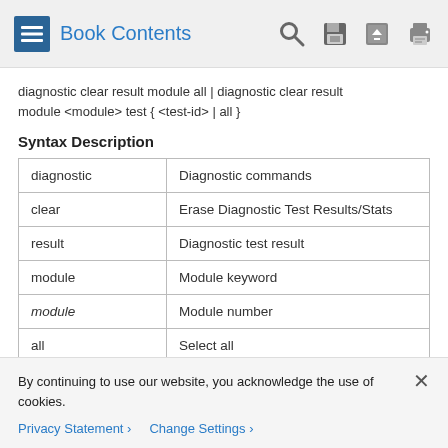Book Contents
diagnostic clear result module all | diagnostic clear result module <module> test { <test-id> | all }
Syntax Description
| diagnostic | Diagnostic commands |
| clear | Erase Diagnostic Test Results/Stats |
| result | Diagnostic test result |
| module | Module keyword |
| module (italic) | Module number |
| all | Select all |
By continuing to use our website, you acknowledge the use of cookies.
Privacy Statement  Change Settings